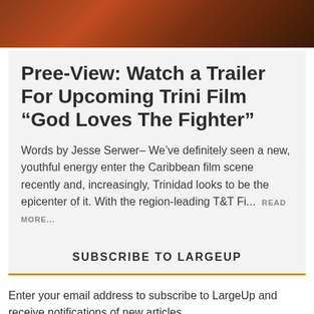[Figure (photo): Dark reddish-brown close-up photo used as article header image]
Pree-View: Watch a Trailer For Upcoming Trini Film “God Loves The Fighter”
Words by Jesse Serwer– We’ve definitely seen a new, youthful energy enter the Caribbean film scene recently and, increasingly, Trinidad looks to be the epicenter of it. With the region-leading T&T Fi...  READ MORE...
SUBSCRIBE TO LARGEUP
Enter your email address to subscribe to LargeUp and receive notifications of new articles.